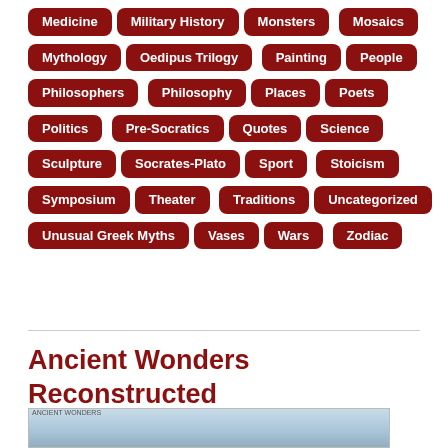Medicine
Military History
Monsters
Mosaics
Mythology
Oedipus Trilogy
Painting
People
Philosophers
Philosophy
Places
Poets
Politics
Pre-Socratics
Quotes
Science
Sculpture
Socrates-Plato
Sport
Stoicism
Symposium
Theater
Traditions
Uncategorized
Unusual Greek Myths
Vases
Wars
Zodiac
Ancient Wonders Reconstructed
[Figure (photo): Landscape photo preview of ancient wonders reconstructed article]